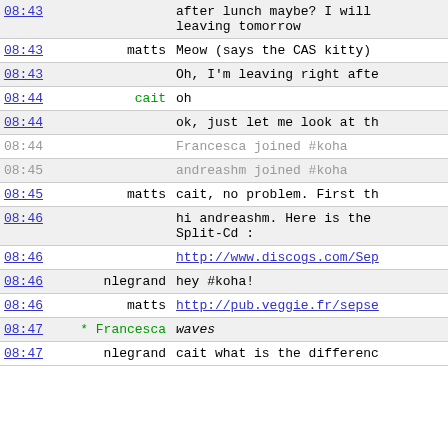| time | user | message |
| --- | --- | --- |
| 08:43 |  | after lunch maybe? I will leaving tomorrow |
| 08:43 | matts | Meow (says the CAS kitty) |
| 08:43 |  | Oh, I'm leaving right afte |
| 08:44 | cait | oh |
| 08:44 |  | ok, just let me look at th |
| 08:44 |  | Francesca joined #koha |
| 08:45 |  | andreashm joined #koha |
| 08:45 | matts | cait, no problem. First th |
| 08:46 |  | hi andreashm. Here is the Split-Cd : |
| 08:46 |  | http://www.discogs.com/Sep |
| 08:46 | nlegrand | hey #koha! |
| 08:46 | matts | http://pub.veggie.fr/sepse |
| 08:47 | * Francesca | waves |
| 08:47 | nlegrand | cait what is the differenc |